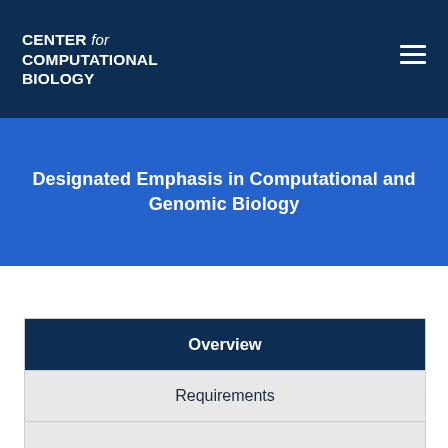CENTER for COMPUTATIONAL BIOLOGY
Designated Emphasis in Computational and Genomic Biology
Overview
Requirements
Application Process
DE Faculty and Contacts